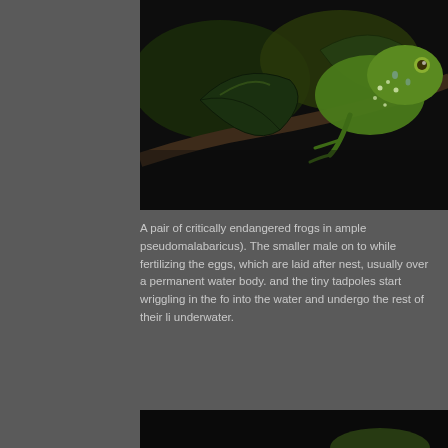[Figure (photo): Close-up photograph of a pair of critically endangered frogs (Rhacophorus pseudomalabaricus) perched on dark branches and leaves at night. A green tree frog with white spots is visible clinging to vegetation.]
A pair of critically critically endangered frogs in ample pseudomalabaricus). The smaller male on to while fertilizing the eggs, which are laid after nest, usually over a permanent water body. and the tiny tadpoles start wriggling in the fo into the water and undergo the rest of their li underwater.
[Figure (photo): Partial bottom photograph, dark background with frog visible at bottom edge.]